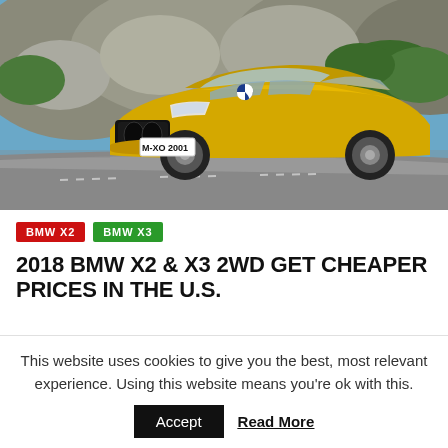[Figure (photo): A gold/yellow BMW X2 SUV driving on a road with rocky hills and green trees in the background. The license plate reads M-XO 2001.]
BMW X2   BMW X3
2018 BMW X2 & X3 2WD GET CHEAPER PRICES IN THE U.S.
This website uses cookies to give you the best, most relevant experience. Using this website means you're ok with this.
Accept   Read More